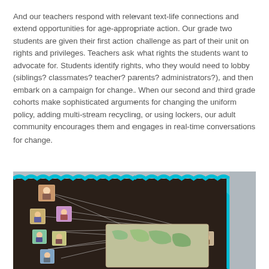And our teachers respond with relevant text-life connections and extend opportunities for age-appropriate action. Our grade two students are given their first action challenge as part of their unit on rights and privileges. Teachers ask what rights the students want to advocate for. Students identify rights, who they would need to lobby (siblings? classmates? teacher? parents? administrators?), and then embark on a campaign for change. When our second and third grade cohorts make sophisticated arguments for changing the uniform policy, adding multi-stream recycling, or using lockers, our adult community encourages them and engages in real-time conversations for change.
[Figure (photo): A classroom bulletin board covered in dark brown/black fabric with a teal scalloped border. Multiple small student portrait photos are pinned to the board with string lines connecting them, and a world map poster is displayed in the lower right area of the board.]